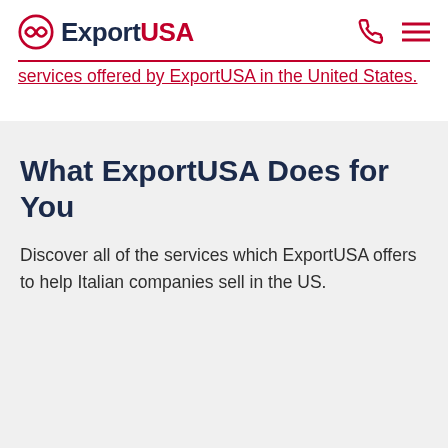ExportUSA
services offered by ExportUSA in the United States.
What ExportUSA Does for You
Discover all of the services which ExportUSA offers to help Italian companies sell in the US.